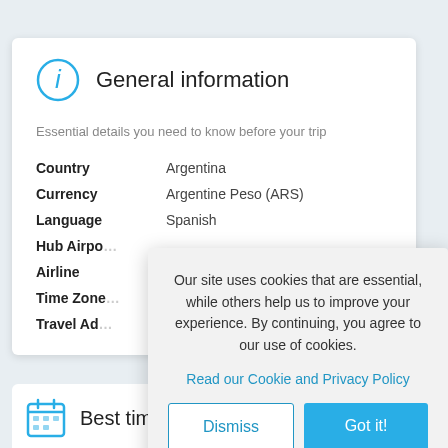General information
Essential details you need to know before your trip
| Country | Argentina |
| Currency | Argentine Peso (ARS) |
| Language | Spanish |
| Hub Airpo... |  |
| Airline |  |
| Time Zone... |  |
| Travel Ad... |  |
Our site uses cookies that are essential, while others help us to improve your experience. By continuing, you agree to our use of cookies.
Read our Cookie and Privacy Policy
Dismiss
Got it!
Best time to visit Bariloche